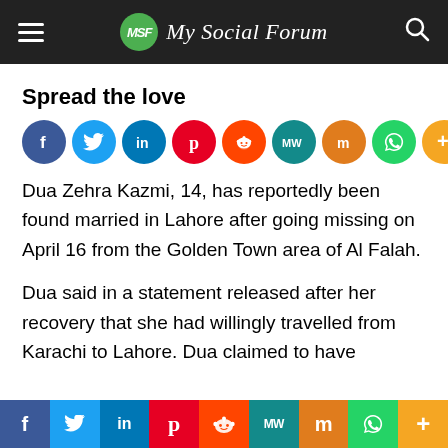My Social Forum
Spread the love
[Figure (infographic): Row of social media share icons: Facebook, Twitter, LinkedIn, Pinterest, Reddit, MeWe, Mix, WhatsApp, More]
Dua Zehra Kazmi, 14, has reportedly been found married in Lahore after going missing on April 16 from the Golden Town area of Al Falah.
Dua said in a statement released after her recovery that she had willingly travelled from Karachi to Lahore. Dua claimed to have
f  Twitter  in  Pinterest  Reddit  MW  Mix  WhatsApp  More